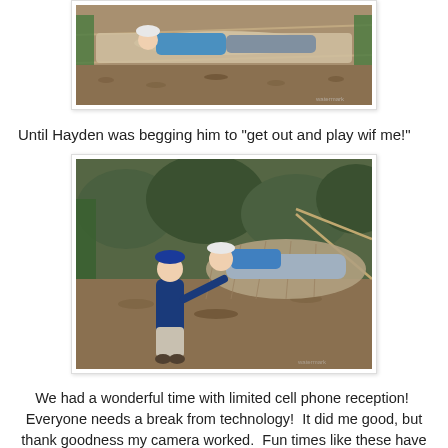[Figure (photo): Person lying in a hammock outdoors on a lawn with fallen leaves]
Until Hayden was begging him to "get out and play wif me!"
[Figure (photo): Child in blue cap standing next to a hammock where a person is lying, reaching toward the person in the hammock, trees in background]
We had a wonderful time with limited cell phone reception!  Everyone needs a break from technology!  It did me good, but thank goodness my camera worked.  Fun times like these have to be remembered in pictures!